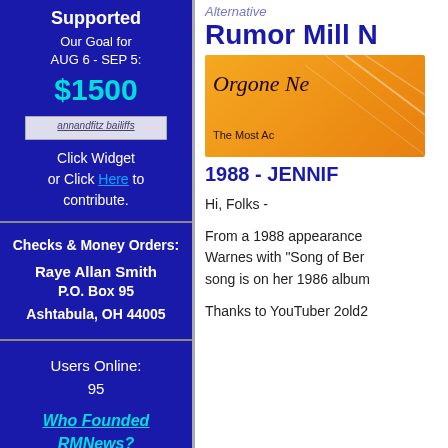Supported
Our Goal for AUG 6 - SEP 5: $1500
[Figure (other): Donate via button/badge image link]
Click Widget or Click Here to contribute.
Checks & Money Orders:
Raye Allan Smith
P.O. Box 95
Ashtabula, OH 44005
Users Online: 95
Who Founded RMNews?
Alternative
Rumor Mill N
[Figure (other): Orgone N - The Most Ac - orange banner advertisement]
1988 - JENNIF
Hi, Folks -
From a 1988 appearance Warnes with "Song of Ber song is on her 1986 album
Thanks to YouTuber 2old2